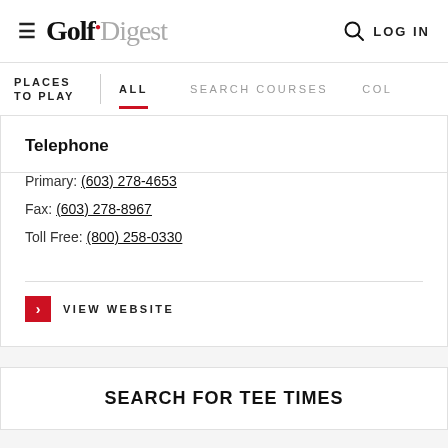Golf Digest LOG IN
PLACES TO PLAY | ALL SEARCH COURSES COL
Telephone
Primary: (603) 278-4653
Fax: (603) 278-8967
Toll Free: (800) 258-0330
VIEW WEBSITE
SEARCH FOR TEE TIMES